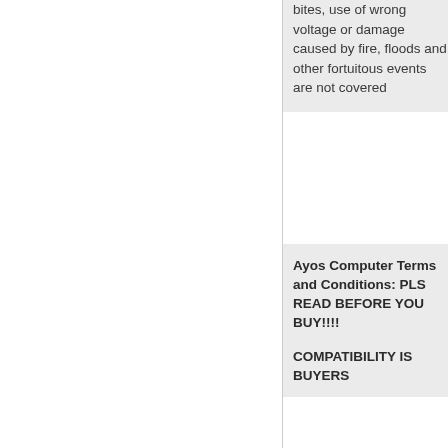bites, use of wrong voltage or damage caused by fire, floods and other fortuitous events are not covered
Ayos Computer Terms and Conditions: PLS READ BEFORE YOU BUY!!!!
COMPATIBILITY IS BUYERS